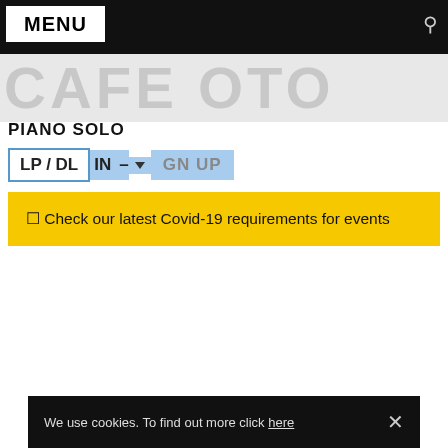MENU
CAFE OTO
PIANO SOLO
LP / DL  IN – ▼  GN UP
⚑ Check our latest Covid-19 requirements for events
We use cookies. To find out more click here  ×